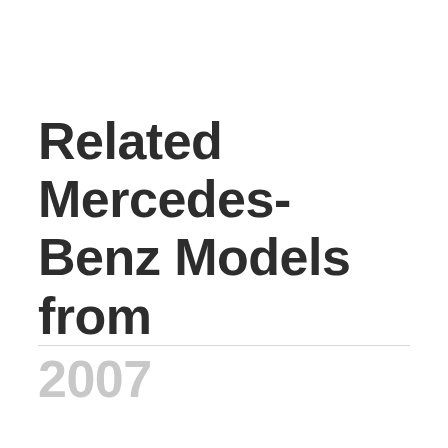Related Mercedes-Benz Models from 2007